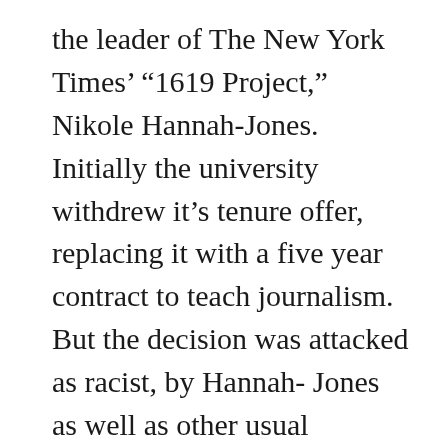the leader of The New York Times' “1619 Project,” Nikole Hannah-Jones. Initially the university withdrew it’s tenure offer, replacing it with a five year contract to teach journalism. But the decision was attacked as racist, by Hannah- Jones as well as other usual suspects, and the school backed down. It has now made it clear that an admitted propagandist who has deliberately misrepresented facts to push a political position and repeatedly